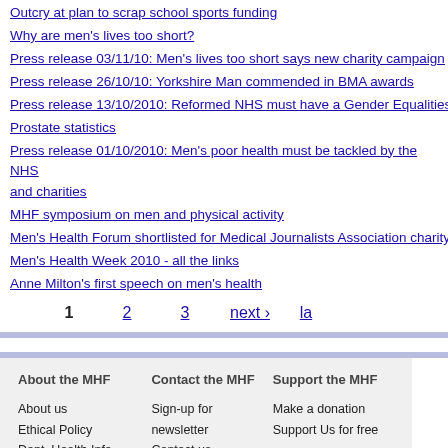Outcry at plan to scrap school sports funding
Why are men's lives too short?
Press release 03/11/10: Men's lives too short says new charity campaign
Press release 26/10/10: Yorkshire Man commended in BMA awards
Press release 13/10/2010: Reformed NHS must have a Gender Equalities
Prostate statistics
Press release 01/10/2010: Men's poor health must be tackled by the NHS and charities
MHF symposium on men and physical activity
Men's Health Forum shortlisted for Medical Journalists Association charity
Men's Health Week 2010 - all the links
Anne Milton's first speech on men's health
About the MHF | About us | Ethical Policy | Dept. Health Info. Standard | Why do we need the MHF? | Disclaimer, comments policy, privacy and copyright | Contact the MHF | Sign-up for newsletter | Contact us | Media enquiries | Support the MHF | Make a donation | Support Us for free